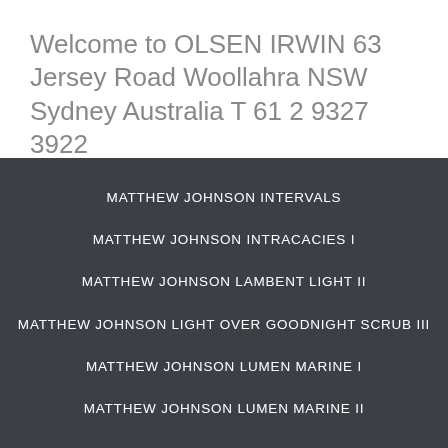Welcome to OLSEN IRWIN 63 Jersey Road Woollahra NSW Sydney Australia T 61 2 9327 3922
MATTHEW JOHNSON INTERVALS
MATTHEW JOHNSON INTRACACIES I
MATTHEW JOHNSON LAMBENT LIGHT II
MATTHEW JOHNSON LIGHT OVER GOODNIGHT SCRUB III
MATTHEW JOHNSON LUMEN MARINE I
MATTHEW JOHNSON LUMEN MARINE II